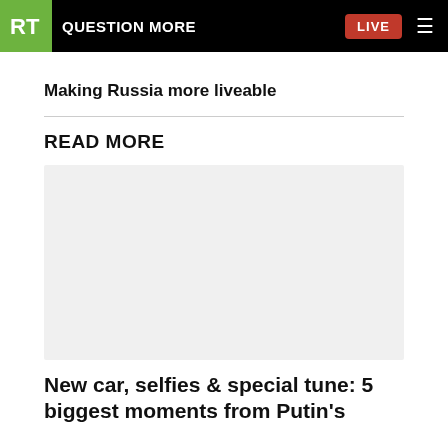RT QUESTION MORE LIVE
Making Russia more liveable
READ MORE
[Figure (photo): Placeholder thumbnail image for article]
New car, selfies & special tune: 5 biggest moments from Putin's